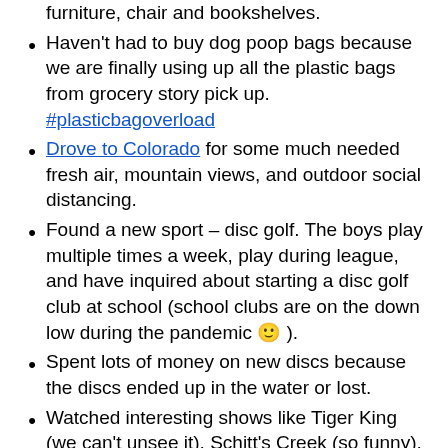furniture, chair and bookshelves. (partial, top of page)
Haven't had to buy dog poop bags because we are finally using up all the plastic bags from grocery story pick up. #plasticbagoverload
Drove to Colorado for some much needed fresh air, mountain views, and outdoor social distancing.
Found a new sport – disc golf. The boys play multiple times a week, play during league, and have inquired about starting a disc golf club at school (school clubs are on the down low during the pandemic 🙂 ).
Spent lots of money on new discs because the discs ended up in the water or lost.
Watched interesting shows like Tiger King (we can't unsee it), Schitt's Creek (so funny), Cobra Kai (must see for GenXers), Ozark (what a dark show).
Watching Marvel Movies in order (Captain America: The First Avenger, Iron Man, Iron Man 2, The Incredible Hulk, Thor, The Avengers, Iron Man 3, Thor: The Dark